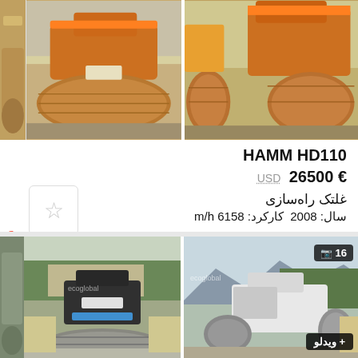[Figure (photo): Two photos of a HAMM HD110 road roller (orange/brown) shown from the rear, outdoor setting with machinery in background]
HAMM HD110
USD  26500 €
غلتک راه‌سازی
سال: 2008  کارکرد: 6158 m/h
اسپانیا، Alagón
[Figure (photo): Two photos of a smaller road roller (white/dark) shown from rear, outdoor industrial setting with trees in background. One photo has camera icon with 16 count badge. Bottom right has video badge.]